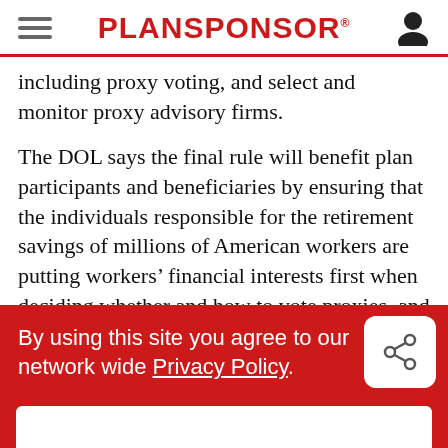PLANSPONSOR
including proxy voting, and select and monitor proxy advisory firms.
The DOL says the final rule will benefit plan participants and beneficiaries by ensuring that the individuals responsible for the retirement savings of millions of American workers are putting workers’ financial interests first when deciding whether and how to vote proxies, and that they are advancing prudent management of
By using this site you agree to our network wide Privacy Policy.